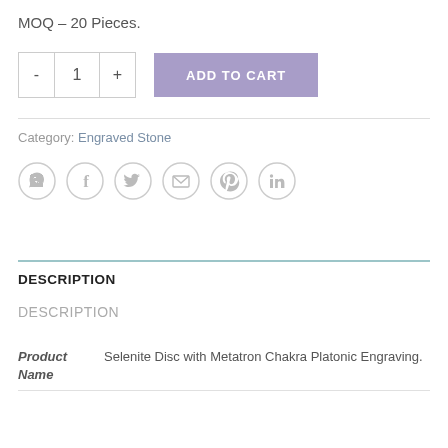MOQ – 20 Pieces.
[Figure (other): Quantity selector with minus button, 1, plus button, and ADD TO CART button in lavender/purple]
Category: Engraved Stone
[Figure (other): Social sharing icons: WhatsApp, Facebook, Twitter, Email, Pinterest, LinkedIn — all in light gray outlined circles]
DESCRIPTION
DESCRIPTION
| Product Name | Selenite Disc with Metatron Chakra Platonic Engraving. |